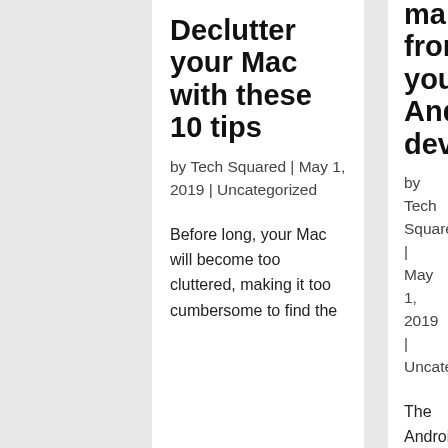Declutter your Mac with these 10 tips
by Tech Squared | May 1, 2019 | Uncategorized
Before long, your Mac will become too cluttered, making it too cumbersome to find the
malware from your Android device
by Tech Squared | May 1, 2019 | Uncategorized
The Android operating system is open source, which makes customization and app development